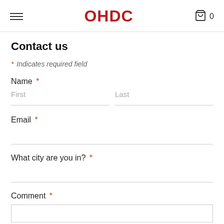OHDC
Contact us
* Indicates required field
Name *
First | Last
Email *
What city are you in? *
Comment *